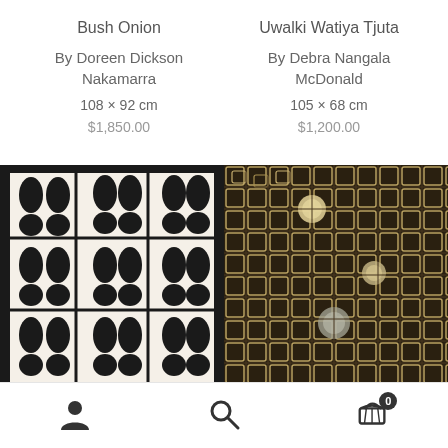Bush Onion
By Doreen Dickson Nakamarra
108 × 92 cm
$1,850.00
Uwalki Watiya Tjuta
By Debra Nangala McDonald
105 × 68 cm
$1,200.00
[Figure (photo): Black and white Aboriginal dot art painting - Bush Onion by Doreen Dickson Nakamarra, showing symmetrical leaf/teardrop shapes on white background with dark borders]
[Figure (photo): Uwalki Watiya Tjuta by Debra Nangala McDonald - intricate grid pattern of small rectangular shapes in black, gold and cream tones with circular medallions]
Navigation icons: user account, search, shopping cart (0)